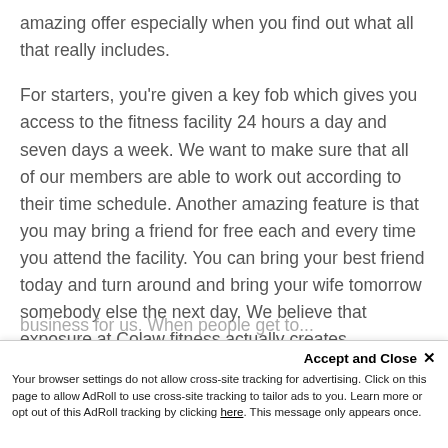amazing offer especially when you find out what all that really includes.
For starters, you're given a key fob which gives you access to the fitness facility 24 hours a day and seven days a week. We want to make sure that all of our members are able to work out according to their time schedule. Another amazing feature is that you may bring a friend for free each and every time you attend the facility. You can bring your best friend today and turn around and bring your wife tomorrow somebody else the next day. We believe that exposure at Colaw fitness actually creates
business for us. When people get to...
Accept and Close ✕
Your browser settings do not allow cross-site tracking for advertising. Click on this page to allow AdRoll to use cross-site tracking to tailor ads to you. Learn more or opt out of this AdRoll tracking by clicking here. This message only appears once.